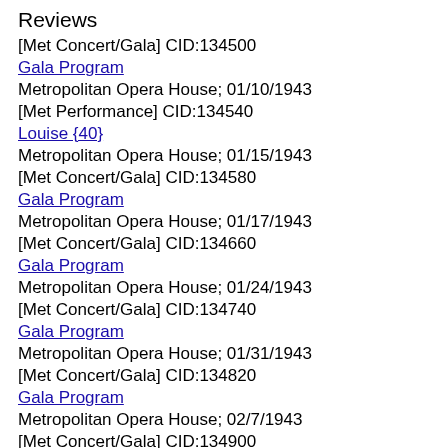Reviews
[Met Concert/Gala] CID:134500
Gala Program
Metropolitan Opera House; 01/10/1943
[Met Performance] CID:134540
Louise {40}
Metropolitan Opera House; 01/15/1943
[Met Concert/Gala] CID:134580
Gala Program
Metropolitan Opera House; 01/17/1943
[Met Concert/Gala] CID:134660
Gala Program
Metropolitan Opera House; 01/24/1943
[Met Concert/Gala] CID:134740
Gala Program
Metropolitan Opera House; 01/31/1943
[Met Concert/Gala] CID:134820
Gala Program
Metropolitan Opera House; 02/7/1943
[Met Concert/Gala] CID:134900
Gala Program
Metropolitan Opera House; 02/14/1943
[Met Concert/Gala] CID:134980